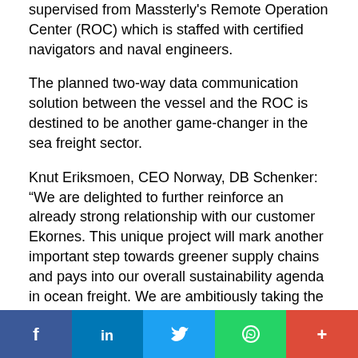supervised from Massterly's Remote Operation Center (ROC) which is staffed with certified navigators and naval engineers.
The planned two-way data communication solution between the vessel and the ROC is destined to be another game-changer in the sea freight sector.
Knut Eriksmoen, CEO Norway, DB Schenker: “We are delighted to further reinforce an already strong relationship with our customer Ekornes. This unique project will mark another important step towards greener supply chains and pays into our overall sustainability agenda in ocean freight. We are ambitiously taking the lead here with our cooperation partners.”
Roger Lunde, CEO, Ekornes AS: “We’re continuously working towards our goal of becoming the leading global sustainable manufacturer of premium furniture. With this
Social share bar: Facebook, LinkedIn, Twitter, WhatsApp, Google+